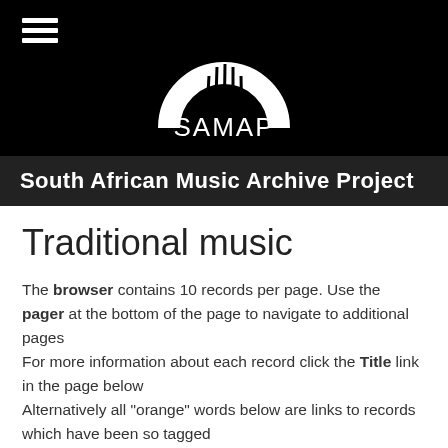[Figure (logo): SAMAP logo — white semicircle with vertical strings (harp/guitar shape) above the text SAMAP, on black background]
South African Music Archive Project
Traditional music
The browser contains 10 records per page. Use the pager at the bottom of the page to navigate to additional pages
For more information about each record click the Title link in the page below
Alternatively all "orange" words below are links to records which have been so tagged
• Khauteng